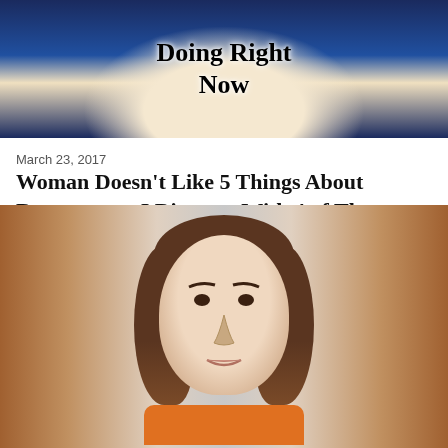[Figure (photo): Top image showing text overlay 'Need to Stop Doing Right Now' on a face with blue hair and bright pink lips]
March 23, 2017
Woman Doesn't Like 5 Things About Restaurants. I Disagree With 4 of Them.
[Figure (photo): Mugshot-style photo of a young woman with brown hair wearing an orange top, photographed against a gray/brown background]